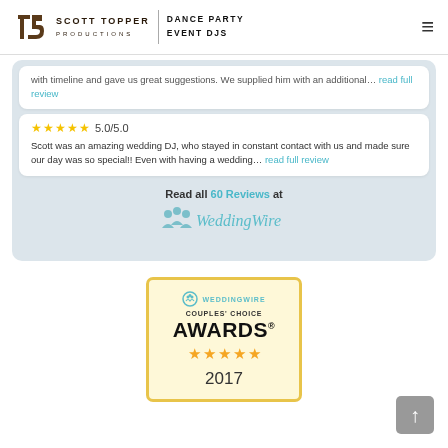Scott Topper Productions | Dance Party Event DJs
with timeline and gave us great suggestions. We supplied him with an additional… read full review
5.0/5.0
Scott was an amazing wedding DJ, who stayed in constant contact with us and made sure our day was so special!! Even with having a wedding… read full review
Read all 60 Reviews at WeddingWire
[Figure (logo): WeddingWire Couples' Choice Awards 2017 badge with gold border and five orange stars]